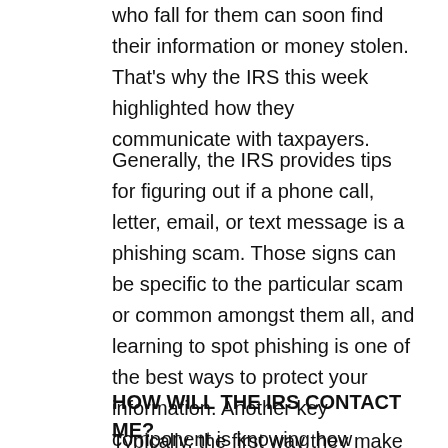who fall for them can soon find their information or money stolen. That's why the IRS this week highlighted how they communicate with taxpayers.
Generally, the IRS provides tips for figuring out if a phone call, letter, email, or text message is a phishing scam. Those signs can be specific to the particular scam or common amongst them all, and learning to spot phishing is one of the best ways to protect your information. Another key component is knowing how government agencies like the IRS actually contact Americans.
HOW WILL THE IRS CONTACT ME?
Typically, the first way they make the contact by the...